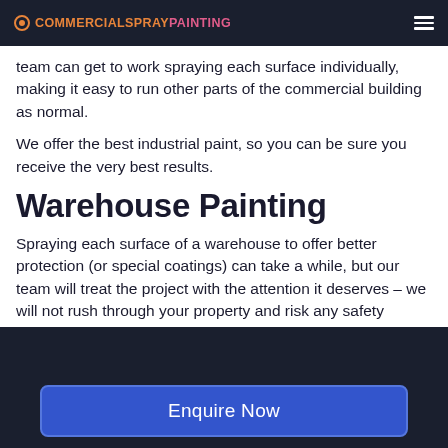COMMERCIALSPRAYPAINTING
team can get to work spraying each surface individually, making it easy to run other parts of the commercial building as normal.
We offer the best industrial paint, so you can be sure you receive the very best results.
Warehouse Painting
Spraying each surface of a warehouse to offer better protection (or special coatings) can take a while, but our team will treat the project with the attention it deserves – we will not rush through your property and risk any safety
Enquire Now